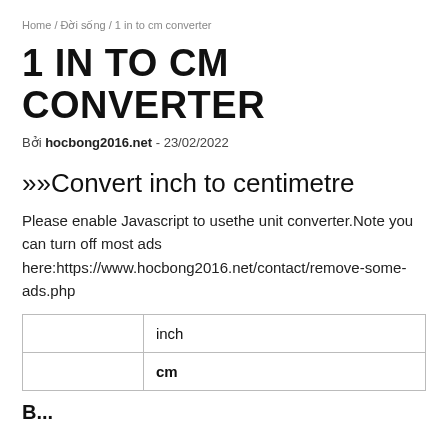Home / Đời sống / 1 in to cm converter
1 IN TO CM CONVERTER
Bởi hocbong2016.net - 23/02/2022
››Convert inch to centimetre
Please enable Javascript to usethe unit converter.Note you can turn off most ads here:https://www.hocbong2016.net/contact/remove-some-ads.php
|  | inch |
| --- | --- |
|  | inch |
|  | cm |
B...